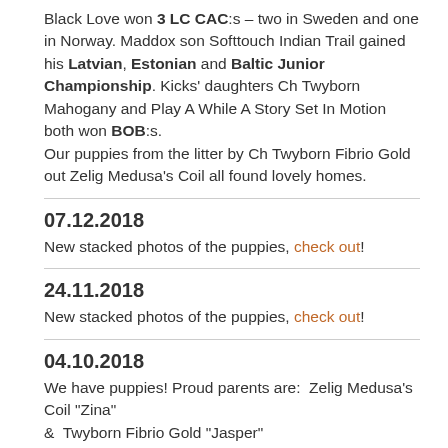Black Love won 3 LC CAC:s – two in Sweden and one in Norway. Maddox son Softtouch Indian Trail gained his Latvian, Estonian and Baltic Junior Championship. Kicks' daughters Ch Twyborn Mahogany and Play A While A Story Set In Motion both won BOB:s.
Our puppies from the litter by Ch Twyborn Fibrio Gold out Zelig Medusa's Coil all found lovely homes.
07.12.2018
New stacked photos of the puppies, check out!
24.11.2018
New stacked photos of the puppies, check out!
04.10.2018
We have puppies! Proud parents are:  Zelig Medusa's Coil "Zina" &  Twyborn Fibrio Gold "Jasper"